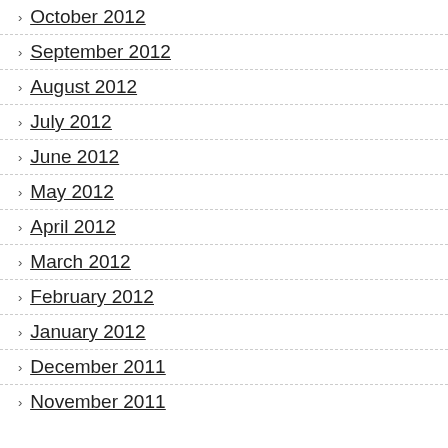October 2012
September 2012
August 2012
July 2012
June 2012
May 2012
April 2012
March 2012
February 2012
January 2012
December 2011
November 2011